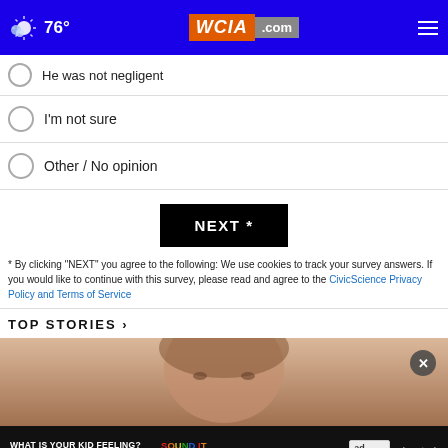76° WCIA.com
He was not negligent
I'm not sure
Other / No opinion
NEXT *
* By clicking "NEXT" you agree to the following: We use cookies to track your survey answers. If you would like to continue with this survey, please read and agree to the CivicScience Privacy Policy and Terms of Service
TOP STORIES ›
[Figure (photo): Close-up photo of a young woman's face with red/brown hair]
[Figure (infographic): Ad banner: WHAT IS YOUR KID FEELING? GET SONGS TO SOUND IT OUT. Sound It Out. Ad Council. Pivotal.]